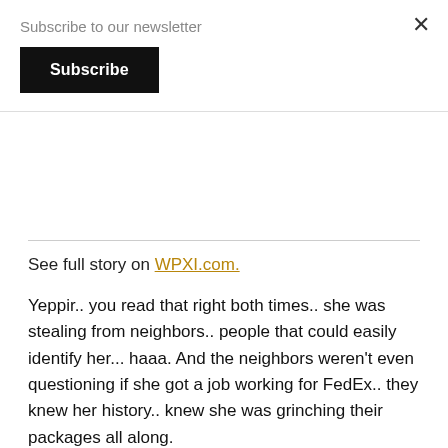Subscribe to our newsletter
Subscribe
See full story on WPXI.com.
Yeppir.. you read that right both times.. she was stealing from neighbors.. people that could easily identify her... haaa. And the neighbors weren't even questioning if she got a job working for FedEx.. they knew her history.. knew she was grinching their packages all along.
Hey neighborly neighbor.. you're supposed to deliver things to your neighbors.. like cookies, a cup of sugar, chicken noodle soup. Thinking you're gonna have fun in your NEW neighborhood... the